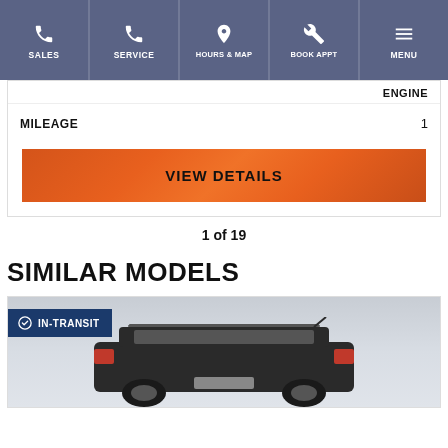SALES | SERVICE | HOURS & MAP | BOOK APPT | MENU
ENGINE
MILEAGE  1
VIEW DETAILS
1 of 19
SIMILAR MODELS
IN-TRANSIT